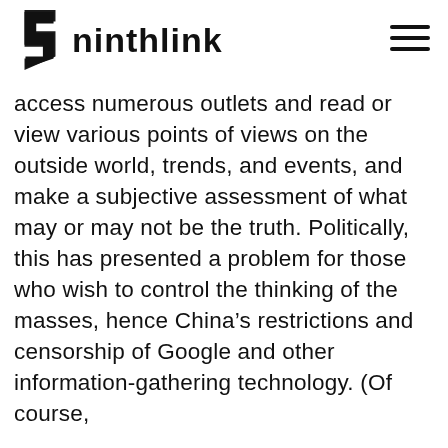ninthlink
access numerous outlets and read or view various points of views on the outside world, trends, and events, and make a subjective assessment of what may or may not be the truth. Politically, this has presented a problem for those who wish to control the thinking of the masses, hence China’s restrictions and censorship of Google and other information-gathering technology. (Of course,